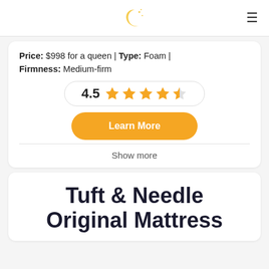[Moon logo] ≡
Price: $998 for a queen | Type: Foam | Firmness: Medium-firm
[Figure (other): Rating box showing 4.5 with 4.5 gold stars]
Learn More
Show more
Tuft & Needle Original Mattress